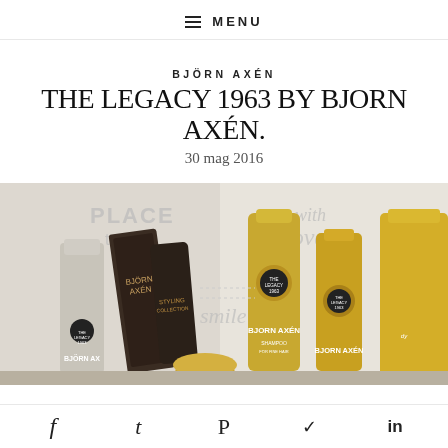≡ MENU
BJÖRN AXÉN
THE LEGACY 1963 BY BJORN AXÉN.
30 mag 2016
[Figure (photo): Björn Axén hair care product lineup including bottles, tubes and containers in grey and gold tones, displayed against a white background with decorative text saying 'PLACE to be', 'smile', and 'with love']
f  t  P  ✓  in